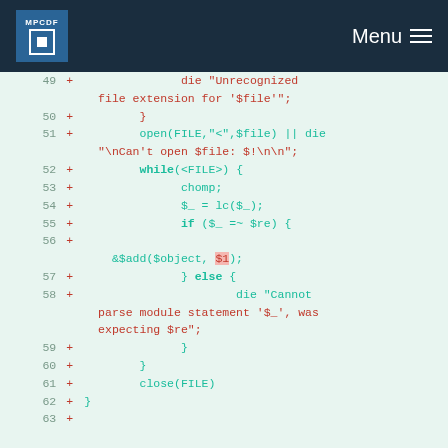MPCDF Menu
[Figure (screenshot): Code diff snippet showing lines 49-63 of a Perl script with syntax highlighting. Lines show file handling code including die statements, open/close FILE, while loop, chomp, lc(), if/else, and &$add() calls.]